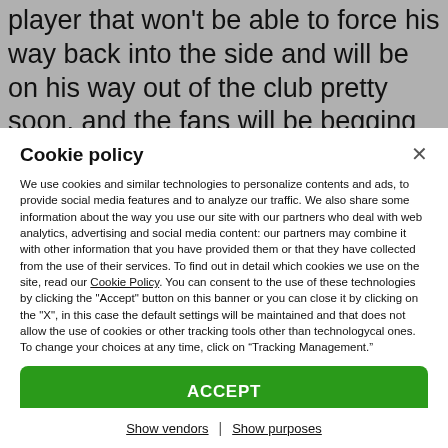player that won't be able to force his way back into the side and will be on his way out of the club pretty soon, and the fans will be begging for a
Cookie policy
We use cookies and similar technologies to personalize contents and ads, to provide social media features and to analyze our traffic. We also share some information about the way you use our site with our partners who deal with web analytics, advertising and social media content: our partners may combine it with other information that you have provided them or that they have collected from the use of their services. To find out in detail which cookies we use on the site, read our Cookie Policy. You can consent to the use of these technologies by clicking the "Accept" button on this banner or you can close it by clicking on the "X", in this case the default settings will be maintained and that does not allow the use of cookies or other tracking tools other than technologycal ones. To change your choices at any time, click on “Tracking Management.”
ACCEPT
TRACKERS MANAGEMENT
Show vendors | Show purposes